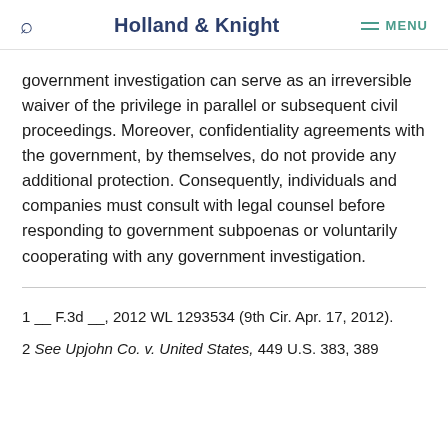Holland & Knight  MENU
government investigation can serve as an irreversible waiver of the privilege in parallel or subsequent civil proceedings. Moreover, confidentiality agreements with the government, by themselves, do not provide any additional protection. Consequently, individuals and companies must consult with legal counsel before responding to government subpoenas or voluntarily cooperating with any government investigation.
1 __ F.3d __, 2012 WL 1293534 (9th Cir. Apr. 17, 2012).
2 See Upjohn Co. v. United States, 449 U.S. 383, 389